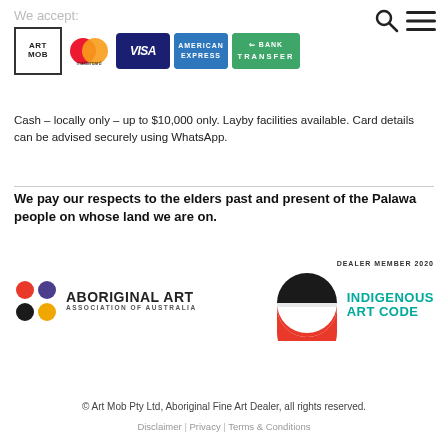We accept:
[Figure (logo): Payment method logos: ArtMob, Mastercard, Visa, American Express, Bank Transfer]
[Figure (logo): Search icon and hamburger menu icon in top right corner]
Cash – locally only – up to $10,000 only. Layby facilities available. Card details can be advised securely using WhatsApp.
We pay our respects to the elders past and present of the Palawa people on whose land we are on.
[Figure (logo): Aboriginal Art Association of Australia logo with coloured dots (red, purple, black, yellow) and text]
[Figure (logo): Indigenous Art Code logo with half black / half orange circle and DEALER MEMBER 2020 text]
© Art Mob Pty Ltd, Aboriginal Fine Art Dealer, all rights reserved. Disclaimer | Privacy | Terms & Conditions